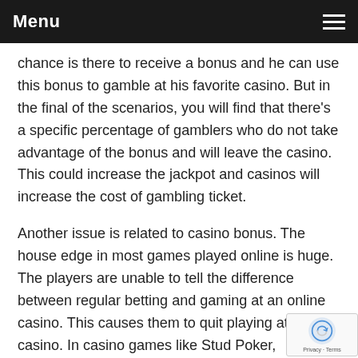Menu
chance is there to receive a bonus and he can use this bonus to gamble at his favorite casino. But in the final of the scenarios, you will find that there's a specific percentage of gamblers who do not take advantage of the bonus and will leave the casino. This could increase the jackpot and casinos will increase the cost of gambling ticket.
Another issue is related to casino bonus. The house edge in most games played online is huge. The players are unable to tell the difference between regular betting and gaming at an online casino. This causes them to quit playing at the casino. In casino games like Stud Poker, Blackjack, Baccarat, Poker and Craps players will notice the difference in house edge and